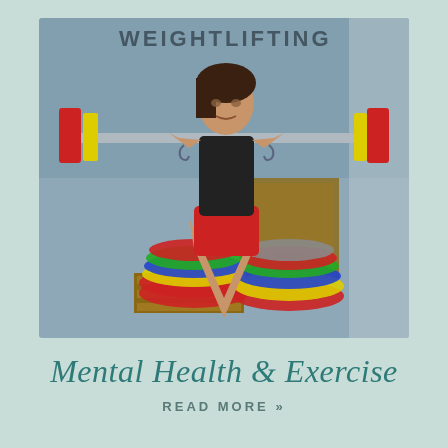[Figure (photo): A female weightlifter performing a lift in a gym, wearing a black crop top and red shorts. She is holding a barbell with large colorful weight plates. Behind her are wooden boxes and more weight plates stacked on the floor. Text on the wall says WEIGHTLIFTING.]
Mental Health & Exercise
READ MORE »